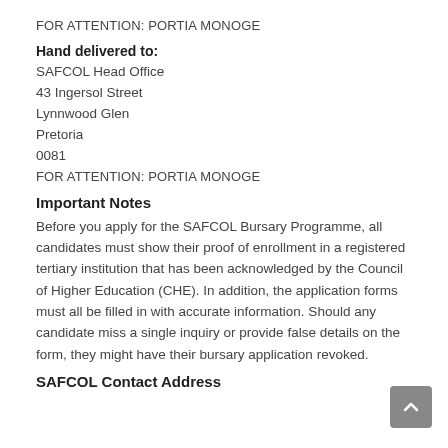FOR ATTENTION: PORTIA MONOGE
Hand delivered to:
SAFCOL Head Office
43 Ingersol Street
Lynnwood Glen
Pretoria
0081
FOR ATTENTION: PORTIA MONOGE
Important Notes
Before you apply for the SAFCOL Bursary Programme, all candidates must show their proof of enrollment in a registered tertiary institution that has been acknowledged by the Council of Higher Education (CHE). In addition, the application forms must all be filled in with accurate information. Should any candidate miss a single inquiry or provide false details on the form, they might have their bursary application revoked.
SAFCOL Contact Address